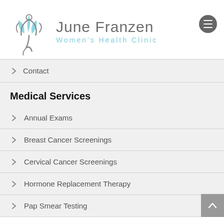[Figure (logo): June Franzen Women's Health Clinic logo with stylized flower/leaves and figure in grey and light blue]
June Franzen
Women's Health Clinic
Contact
Medical Services
Annual Exams
Breast Cancer Screenings
Cervical Cancer Screenings
Hormone Replacement Therapy
Pap Smear Testing